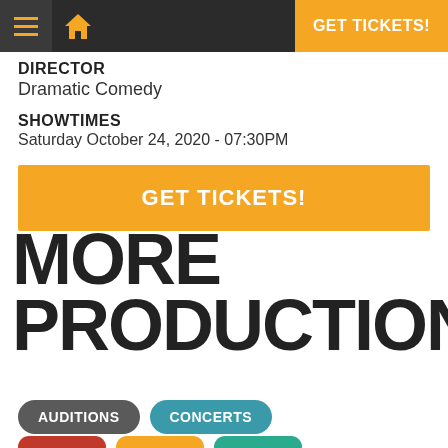GET TICKETS!
DIRECTOR
Dramatic Comedy
SHOWTIMES
Saturday October 24, 2020 - 07:30PM
GET TICKETS!
MORE PRODUCTIONS
AUDITIONS
CONCERTS